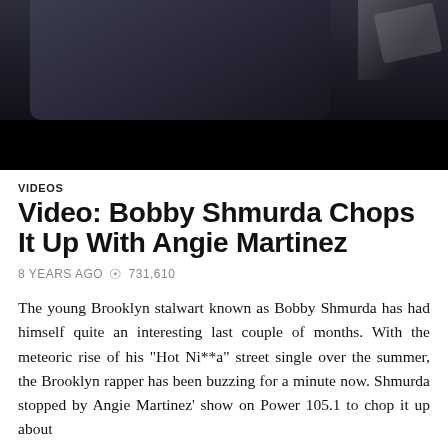[Figure (photo): Screenshot of a video player showing a person in a dark outfit, partially obscured, with a dark lower bar]
VIDEOS
Video: Bobby Shmurda Chops It Up With Angie Martinez
8 YEARS AGO  731,610
The young Brooklyn stalwart known as Bobby Shmurda has had himself quite an interesting last couple of months. With the meteoric rise of his "Hot Ni**a" street single over the summer, the Brooklyn rapper has been buzzing for a minute now. Shmurda stopped by Angie Martinez' show on Power 105.1 to chop it up about